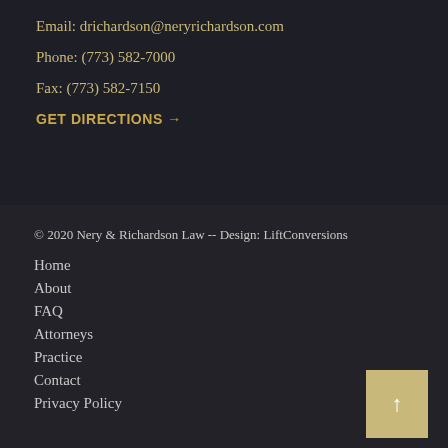Email: drichardson@neryrichardson.com
Phone: (773) 582-7000
Fax: (773) 582-7150
GET DIRECTIONS →
© 2020 Nery & Richardson Law -- Design: LiftConversions
Home
About
FAQ
Attorneys
Practice
Contact
Privacy Policy